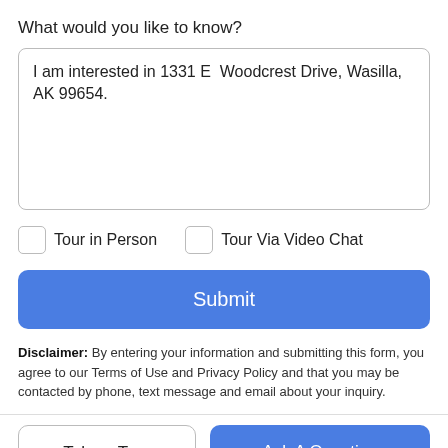What would you like to know?
I am interested in 1331 E  Woodcrest Drive, Wasilla, AK 99654.
Tour in Person
Tour Via Video Chat
Submit
Disclaimer: By entering your information and submitting this form, you agree to our Terms of Use and Privacy Policy and that you may be contacted by phone, text message and email about your inquiry.
Take a Tour
Ask A Question